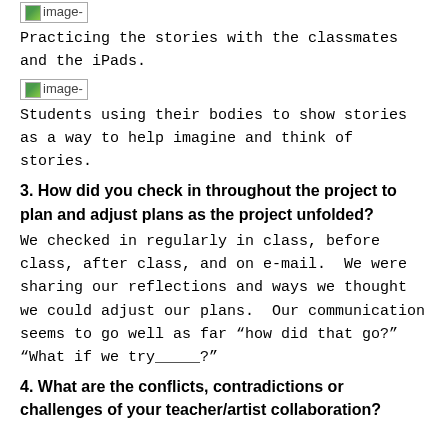[Figure (photo): Broken image placeholder labeled 'image-']
Practicing the stories with the classmates and the iPads.
[Figure (photo): Broken image placeholder labeled 'image-']
Students using their bodies to show stories as a way to help imagine and think of stories.
3. How did you check in throughout the project to plan and adjust plans as the project unfolded?
We checked in regularly in class, before class, after class, and on e-mail.  We were sharing our reflections and ways we thought we could adjust our plans.  Our communication seems to go well as far “how did that go?”  “What if we try_____?”
4. What are the conflicts, contradictions or challenges of your teacher/artist collaboration?